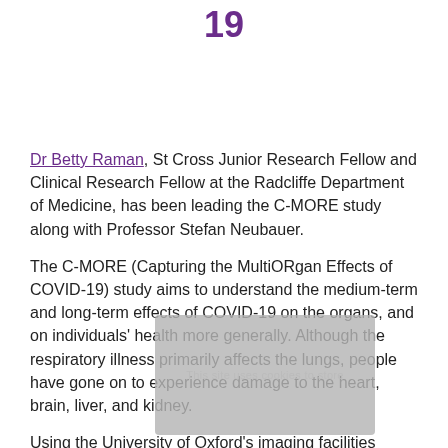19
Dr Betty Raman, St Cross Junior Research Fellow and Clinical Research Fellow at the Radcliffe Department of Medicine, has been leading the C-MORE study along with Professor Stefan Neubauer.
The C-MORE (Capturing the MultiORgan Effects of COVID-19) study aims to understand the medium-term and long-term effects of COVID-19 on the organs, and on individuals' health more generally. Although the respiratory illness primarily affects the lungs, people have gone on to experience damage to the heart, brain, liver, and kidney.
Using the University of Oxford's imaging facilities (OCMR), Dr Raman and her team have been using MRI to assess hospitalised patients and have found abnormalities on